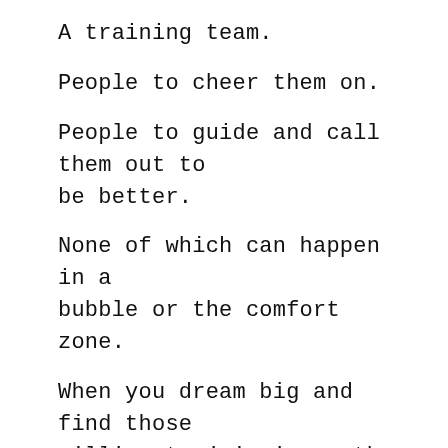A training team.
People to cheer them on.
People to guide and call them out to be better.
None of which can happen in a bubble or the comfort zone.
When you dream big and find those willing to join in on the journey, life begins to take on a whole new meaning.
But if you opt to stay in the comfort zone, you'll never get to where you want to be.